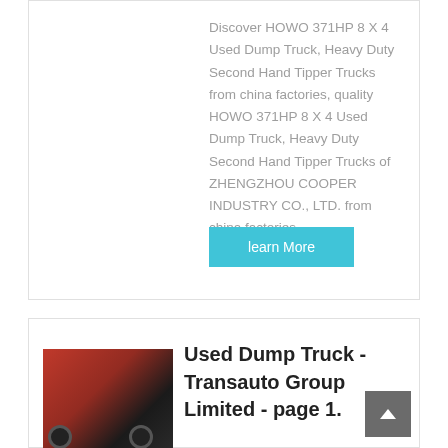Discover HOWO 371HP 8 X 4 Used Dump Truck, Heavy Duty Second Hand Tipper Trucks from china factories, quality HOWO 371HP 8 X 4 Used Dump Truck, Heavy Duty Second Hand Tipper Trucks of ZHENGZHOU COOPER INDUSTRY CO., LTD. from china factories.
learn More
[Figure (photo): Red heavy-duty dump truck / tipper truck viewed from the side]
Used Dump Truck - Transauto Group Limited - page 1.